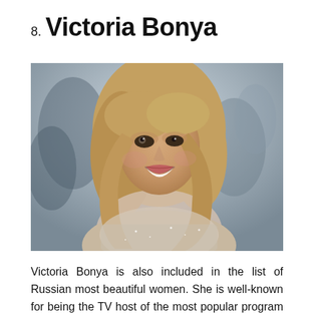8. Victoria Bonya
[Figure (photo): Photo of Victoria Bonya, a blonde woman in a sparkly dress smiling over her shoulder at a red carpet event, with blurred crowd in background]
Victoria Bonya is also included in the list of Russian most beautiful women. She is well-known for being the TV host of the most popular program named “Cosmopolitan” that initiated in the year 2007 and